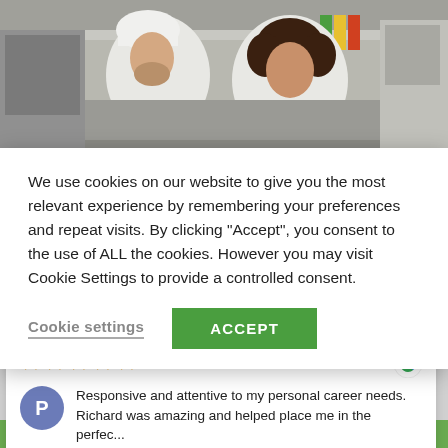[Figure (photo): Two chefs in white uniforms and a chef's toque working in a professional kitchen, looking downward at food preparation. Commercial kitchen equipment visible in background.]
We use cookies on our website to give you the most relevant experience by remembering your preferences and repeat visits. By clicking “Accept”, you consent to the use of ALL the cookies. However you may visit Cookie Settings to provide a controlled consent.
Cookie settings
ACCEPT
Responsive and attentive to my personal career needs. Richard was amazing and helped place me in the perfec...
Paige Walker - 2022-06-23
[Figure (photo): Bottom strip of a green vegetable/salad image partially visible at the bottom of the page.]